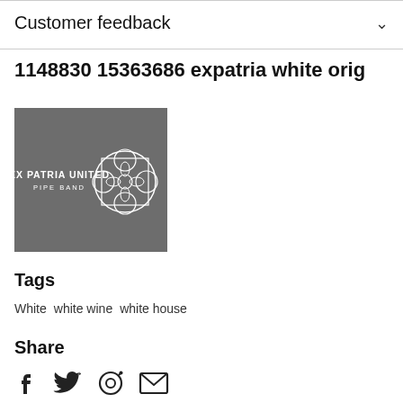Customer feedback
1148830 15363686 expatria white orig
[Figure (logo): Ex Patria United Pipe Band logo — grey square background with white text 'EX PATRIA UNITED PIPE BAND' and a white circular Celtic knot emblem]
Tags
White
white wine
white house
Share